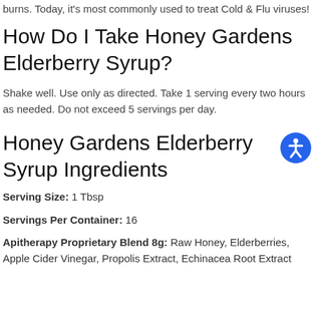burns. Today, it's most commonly used to treat Cold & Flu viruses!
How Do I Take Honey Gardens Elderberry Syrup?
Shake well. Use only as directed. Take 1 serving every two hours as needed. Do not exceed 5 servings per day.
Honey Gardens Elderberry Syrup Ingredients
Serving Size: 1 Tbsp
Servings Per Container: 16
Apitherapy Proprietary Blend 8g: Raw Honey, Elderberries, Apple Cider Vinegar, Propolis Extract, Echinacea Root Extract